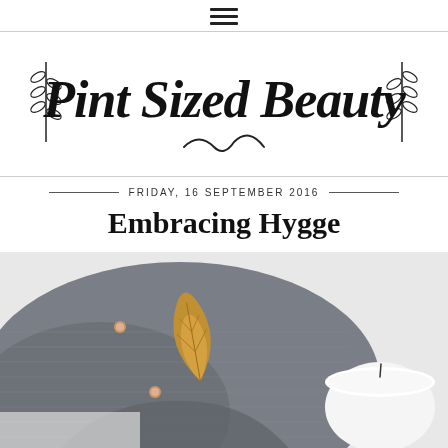≡ (hamburger menu icon)
[Figure (logo): Pint Sized Beauty blog logo in decorative script font with leaf/branch decorations on either side and a flourish beneath]
FRIDAY, 16 SEPTEMBER 2016
Embracing Hygge
[Figure (photo): Flat lay photo of a cozy grey knitted fabric/wool sweater with two small rose gold pin/brooch decorations, an autumn golden-yellow leaf, and a white ceramic candle holder with a small black wick, on a white marble surface]